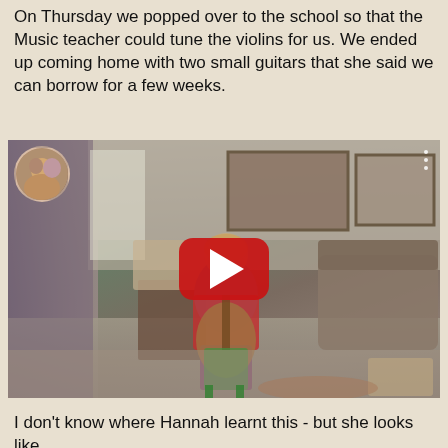On Thursday we popped over to the school so that the Music teacher could tune the violins for us. We ended up coming home with two small guitars that she said we can borrow for a few weeks.
[Figure (screenshot): Embedded YouTube video screenshot showing a child sitting on a small green chair playing an acoustic guitar in a living room. A YouTube play button overlay is visible in the center. A small circular thumbnail avatar is in the top-left corner. Three dots menu icon appears in the top-right corner.]
I don't know where Hannah learnt this - but she looks like